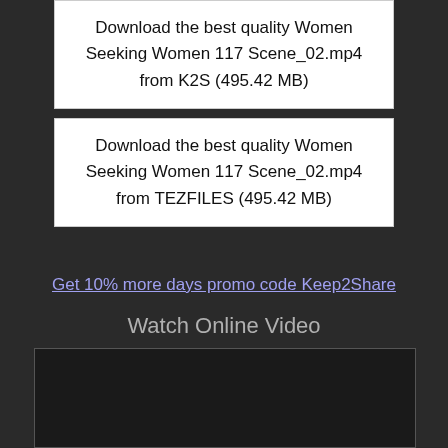Download the best quality Women Seeking Women 117 Scene_02.mp4 from K2S (495.42 MB)
Download the best quality Women Seeking Women 117 Scene_02.mp4 from TEZFILES (495.42 MB)
Get 10% more days promo code Keep2Share
Watch Online Video
[Figure (other): Black video player area]